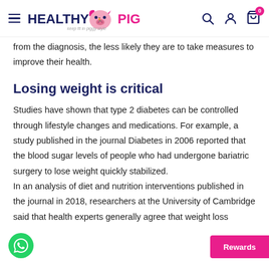HEALTHY PIG - keep fit in piggy style
from the diagnosis, the less likely they are to take measures to improve their health.
Losing weight is critical
Studies have shown that type 2 diabetes can be controlled through lifestyle changes and medications. For example, a study published in the journal Diabetes in 2006 reported that the blood sugar levels of people who had undergone bariatric surgery to lose weight quickly stabilized.
In an analysis of diet and nutrition interventions published in the journal in 2018, researchers at the University of Cambridge said that health experts generally agree that weight loss